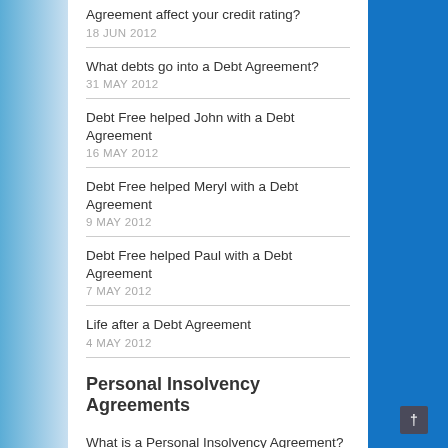Agreement affect your credit rating?
18 JUN 2012
What debts go into a Debt Agreement?
31 MAY 2012
Debt Free helped John with a Debt Agreement
16 MAY 2012
Debt Free helped Meryl with a Debt Agreement
9 MAY 2012
Debt Free helped Paul with a Debt Agreement
7 MAY 2012
Life after a Debt Agreement
4 MAY 2012
Personal Insolvency Agreements
What is a Personal Insolvency Agreement?
27 MAR 2013
Does a Debt Agreement or a Personal Insolvency Agreement affect your credit rating?
18 JUN 2012